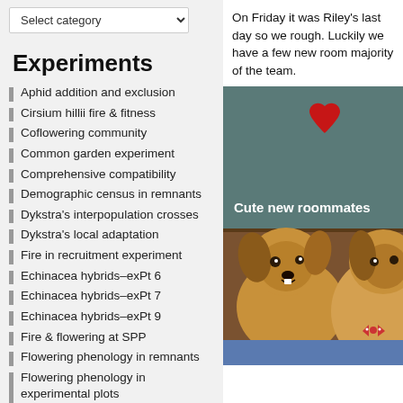Select category
Experiments
Aphid addition and exclusion
Cirsium hillii fire & fitness
Coflowering community
Common garden experiment
Comprehensive compatibility
Demographic census in remnants
Dykstra's interpopulation crosses
Dykstra's local adaptation
Fire in recruitment experiment
Echinacea hybrids–exPt 6
Echinacea hybrids–exPt 7
Echinacea hybrids–exPt 9
Fire & flowering at SPP
Flowering phenology in remnants
Flowering phenology in experimental plots
Heritability of fitness–qGen1
Heritability of fitness–qGen2 & qGen3
Heritability of flowering time
On Friday it was Riley's last day so we rough. Luckily we have a few new room majority of the team.
[Figure (photo): Two small fluffy brown dogs sitting together with a red heart graphic overlay and text 'Cute new roommates' in white bold text]